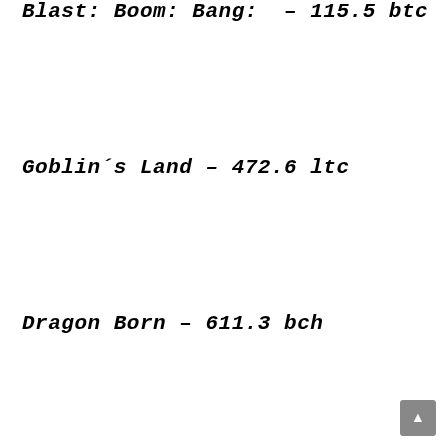Blast: Boom: Bang: – 115.5 btc
Goblin´s Land – 472.6 ltc
Dragon Born – 611.3 bch